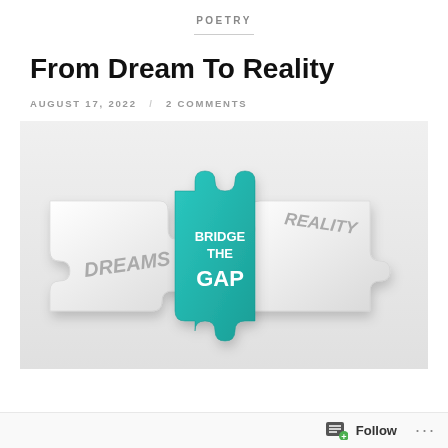POETRY
From Dream To Reality
AUGUST 17, 2022 / 2 COMMENTS
[Figure (illustration): 3D puzzle pieces illustration: two white puzzle pieces on left and right labeled DREAMS and REALITY, with a teal/turquoise center piece labeled BRIDGE THE GAP connecting them.]
Follow